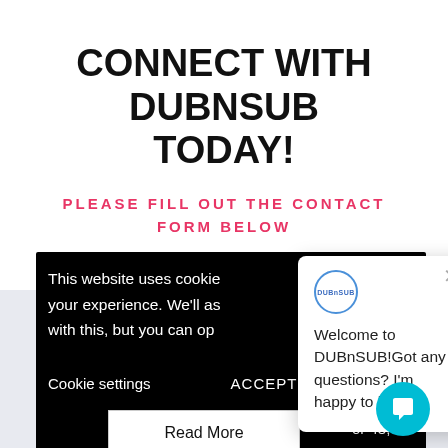CONNECT WITH DUBNSUB TODAY!
PLEASE FILL OUT THE CONTACT FORM BELOW
This website uses cookies to improve your experience. We'll assume you're ok with this, but you can opt-out if you wish.
Cookie settings   ACCEPT
Read More
or 48,
[Figure (screenshot): DUBnSUB chat popup widget showing logo circle with 'DUBnSUB' text, close X button, and message: 'Welcome to DUBnSUB!Got any questions? I'm happy to help.']
[Figure (other): Cyan circular chat bubble button icon in bottom right corner]